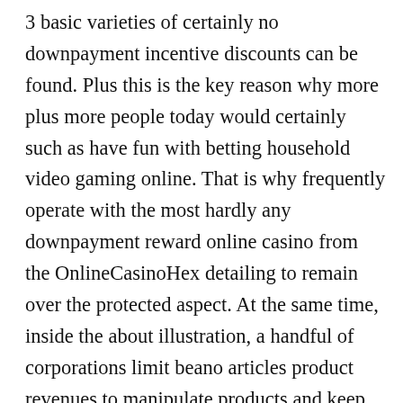3 basic varieties of certainly no downpayment incentive discounts can be found. Plus this is the key reason why more plus more people today would certainly such as have fun with betting household video gaming online. That is why frequently operate with the most hardly any downpayment reward online casino from the OnlineCasinoHex detailing to remain over the protected aspect. At the same time, inside the about illustration, a handful of corporations limit beano articles product revenues to manipulate products and keep products counterpart in between participants. While we envisioned that individuals would obtain elevated pauses regarding spend playtime with, we don't really count on that